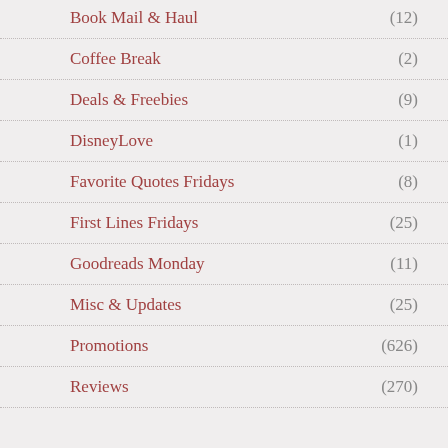Book Mail & Haul (12)
Coffee Break (2)
Deals & Freebies (9)
DisneyLove (1)
Favorite Quotes Fridays (8)
First Lines Fridays (25)
Goodreads Monday (11)
Misc & Updates (25)
Promotions (626)
Reviews (270)